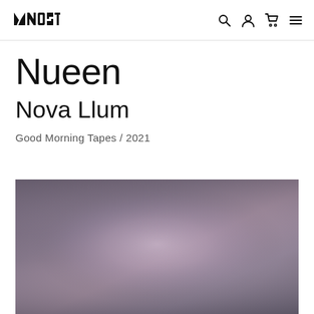MOST [logo] | search | account | cart | menu
Nueen
Nova Llum
Good Morning Tapes / 2021
[Figure (photo): Album artwork for Nova Llum by Nueen — abstract gradient image with muted purple, grey, and mauve tones blending from dark edges to a lighter centre.]